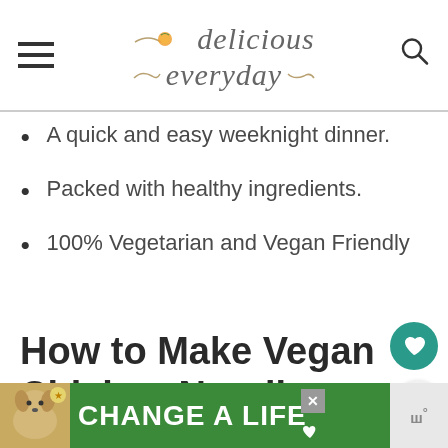[Figure (logo): Delicious Everyday blog logo with decorative script text and floral/citrus illustration, flanked by hamburger menu icon on left and search icon on right]
A quick and easy weeknight dinner.
Packed with healthy ingredients.
100% Vegetarian and Vegan Friendly
How to Make Vegan Chicken Noodle Soup
[Figure (photo): Green advertisement banner with dog photo and 'CHANGE A LIFE' text in white bold letters, with close button and WPO logo]